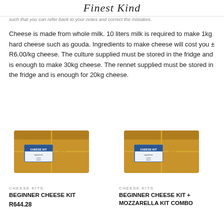Finest Kind
such that you can refer back to your notes and correct the mistakes.
Cheese is made from whole milk. 10 liters milk is required to make 1kg hard cheese such as gouda. Ingredients to make cheese will cost you ± R6.00/kg cheese. The culture supplied must be stored in the fridge and is enough to make 30kg cheese. The rennet supplied must be stored in the fridge and is enough for 20kg cheese.
[Figure (photo): Brown kraft paper wrapped cheese kit box tied with twine, with a blue label reading CHEESE KIT]
CHEESE KITS
BEGINNER CHEESE KIT
R644.28
[Figure (photo): Brown kraft paper wrapped cheese kit box tied with twine, with a blue label reading CHEESE KIT]
CHEESE KITS
BEGINNER CHEESE KIT + MOZZARELLA KIT COMBO